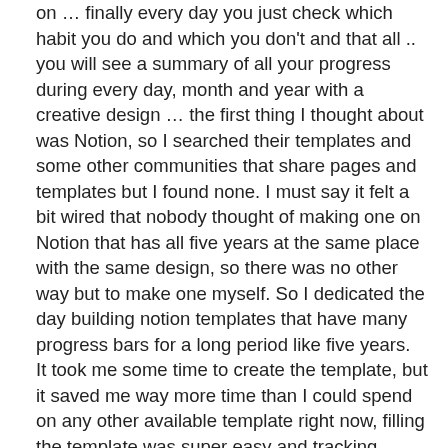on … finally every day you just check which habit you do and which you don't and that all .. you will see a summary of all your progress during every day, month and year with a creative design … the first thing I thought about was Notion, so I searched their templates and some other communities that share pages and templates but I found none. I must say it felt a bit wired that nobody thought of making one on Notion that has all five years at the same place with the same design, so there was no other way but to make one myself. So I dedicated the day building notion templates that have many progress bars for a long period like five years.
It took me some time to create the template, but it saved me way more time than I could spend on any other available template right now, filling the template was super easy and tracking changes and testing my hypothesis will be much easier and faster thanks to how powerful notion is.
Designed with ♥ by Islam Shaarawy
Email -> Islam.Sha3rawy@gmail.com
Facebook → https://web.facebook.com/Eng.sHa3rAwy